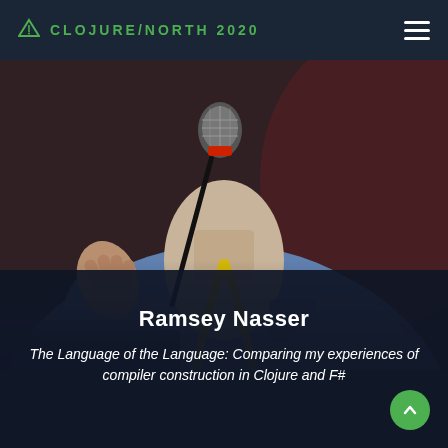CLOJURE/NORTH 2020
[Figure (photo): Speaker Ramsey Nasser standing at a podium holding a microphone, wearing a blue denim shirt with a yellow lanyard around his neck. The photo is cropped to show his torso and the microphone stand.]
Ramsey Nasser
The Language of the Language: Comparing my experiences of compiler construction in Clojure and F#